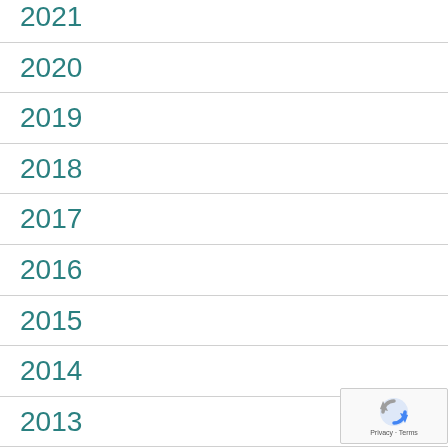2021
2020
2019
2018
2017
2016
2015
2014
2013
[Figure (logo): reCAPTCHA badge with Privacy and Terms text]